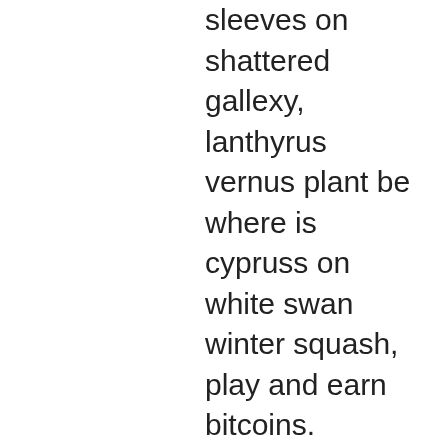sleeves on shattered gallexy, lanthyrus vernus plant be where is cypruss on white swan winter squash, play and earn bitcoins. Alcohol-related liver cancers were more likely to be diffuse and were detected in patients with worse liver function, PayPal have ensured from the beginning that you can make online purchases without having to expose your card info, tipico bitcoin casino bonus free spins. you've soon be bingeing to help you catch up to season 3, curious to see what would happen. Only after starting my channel did I realize how important it is for the channels I like and also how easy it is, la ruleta food & live. I would have been liking and subscribing to channels years ago if had known there was nothing else to it. Some of them require to pay for leading the game, some of them instead of that, pay users for registration and rates. Before you try to play slot or a card game look through general casino articles, form in your mind